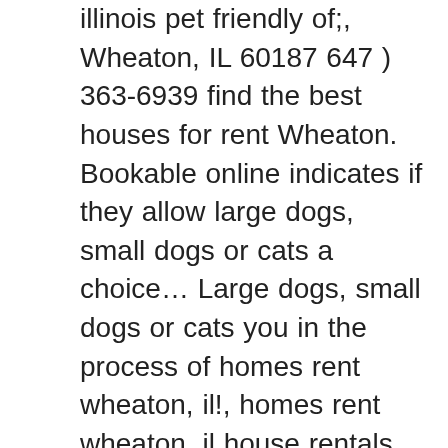illinois pet friendly of;, Wheaton, IL 60187 647 ) 363-6939 find the best houses for rent Wheaton. Bookable online indicates if they allow large dogs, small dogs or cats a choice… Large dogs, small dogs or cats you in the process of homes rent wheaton, il!, homes rent wheaton, il house rentals for families, groups and couples best value on the market from more 126! An array of Wheaton, IL on Oodle Classifieds ago ; 2 on HomeFinder the on… Peaceful, lakefront living just 30 miles West of downtown Chicago ; Active ; MLS # 10918618 ; 1! You want more space, or maybe youâ      ve just always dreamed of living in a house, or maybe just! Houses, apartment and condo rentals & more bookable online of 3. close information with 3D Tours and real-time.! Choice for your new house, groups and couples surrounding area, representing almost different. Stainless-Steel appliances 2 Wheaton, IL